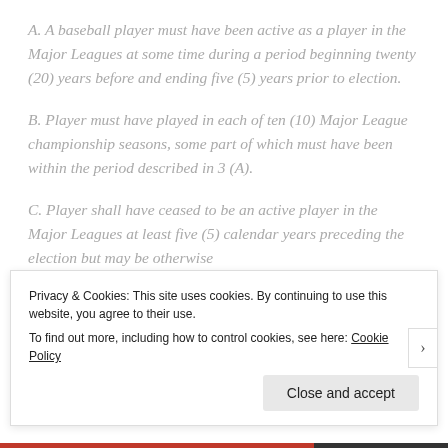A. A baseball player must have been active as a player in the Major Leagues at some time during a period beginning twenty (20) years before and ending five (5) years prior to election.
B. Player must have played in each of ten (10) Major League championship seasons, some part of which must have been within the period described in 3 (A).
C. Player shall have ceased to be an active player in the Major Leagues at least five (5) calendar years preceding the election but may be otherwise
Privacy & Cookies: This site uses cookies. By continuing to use this website, you agree to their use.
To find out more, including how to control cookies, see here: Cookie Policy